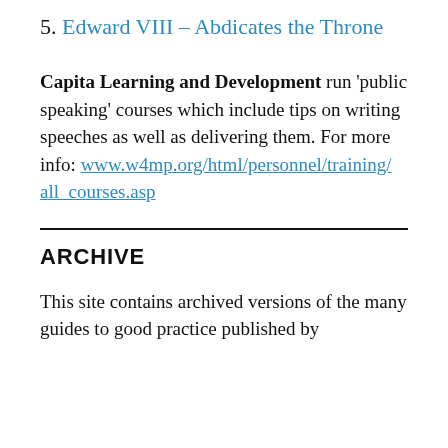5. Edward VIII – Abdicates the Throne
Capita Learning and Development run 'public speaking' courses which include tips on writing speeches as well as delivering them. For more info: www.w4mp.org/html/personnel/training/all_courses.asp
ARCHIVE
This site contains archived versions of the many guides to good practice published by